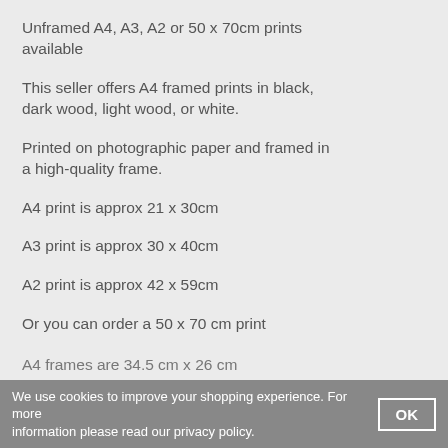Unframed A4, A3, A2 or 50 x 70cm prints available
This seller offers A4 framed prints in black, dark wood, light wood, or white.
Printed on photographic paper and framed in a high-quality frame.
A4 print is approx 21 x 30cm
A3 print is approx 30 x 40cm
A2 print is approx 42 x 59cm
Or you can order a 50 x 70 cm print
A4 frames are 34.5 cm x 26 cm
We use cookies to improve your shopping experience. For more information please read our privacy policy.